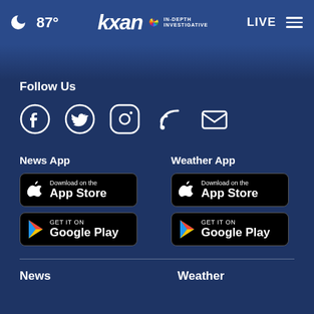🌙 87° | KXAN IN-DEPTH INVESTIGATIVE | LIVE ☰
Follow Us
[Figure (infographic): Social media icons: Facebook, Twitter, Instagram, RSS, Email]
News App
[Figure (infographic): Download on the App Store button (black)]
[Figure (infographic): GET IT ON Google Play button (black)]
Weather App
[Figure (infographic): Download on the App Store button (black)]
[Figure (infographic): GET IT ON Google Play button (black)]
News
Weather